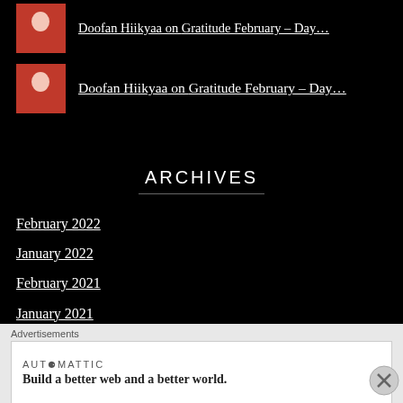Doofan Hiikyaa on Gratitude February – Day…
Doofan Hiikyaa on Gratitude February – Day…
ARCHIVES
February 2022
January 2022
February 2021
January 2021
December 2020
Advertisements
AUTOMATTIC
Build a better web and a better world.